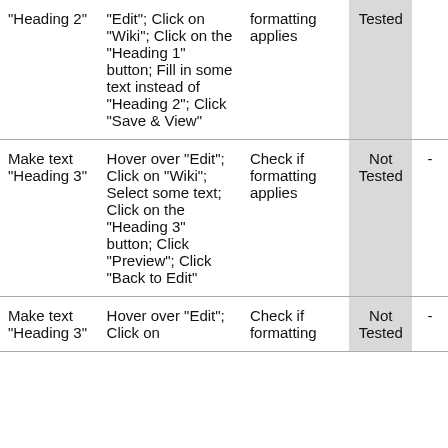| "Heading 2" | "Edit"; Click on "Wiki"; Click on the "Heading 1" button; Fill in some text instead of "Heading 2"; Click "Save & View" | formatting applies | Tested |  |
| Make text "Heading 3" | Hover over "Edit"; Click on "Wiki"; Select some text; Click on the "Heading 3" button; Click "Preview"; Click "Back to Edit" | Check if formatting applies | Not Tested | - |
| Make text "Heading 3" | Hover over "Edit"; Click on | Check if formatting | Not Tested | - |